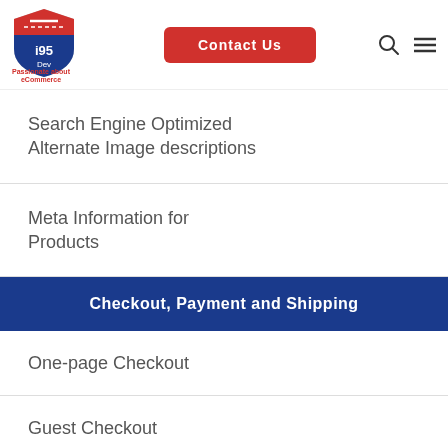[Figure (logo): i95Dev shield logo with red top and blue bottom, text 'i95 Dev' and tagline 'Passionate about eCommerce']
Contact Us
Search Engine Optimized Alternate Image descriptions
Meta Information for Products
Checkout, Payment and Shipping
One-page Checkout
Guest Checkout